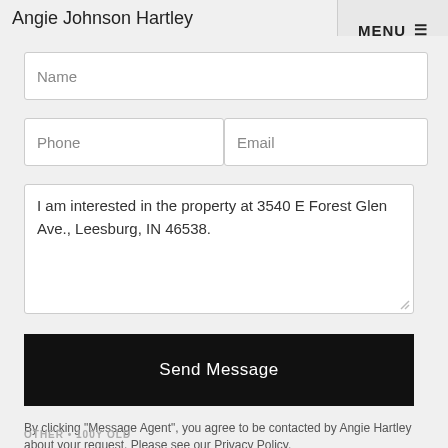Angie Johnson Hartley
MENU ☰
Name
Phone
Email
I am interested in the property at 3540 E Forest Glen Ave., Leesburg, IN 46538.
Send Message
By clicking "Message Agent", you agree to be contacted by Angie Hartley about your request. Please see our Privacy Policy.
OTHER • 100Y OLD